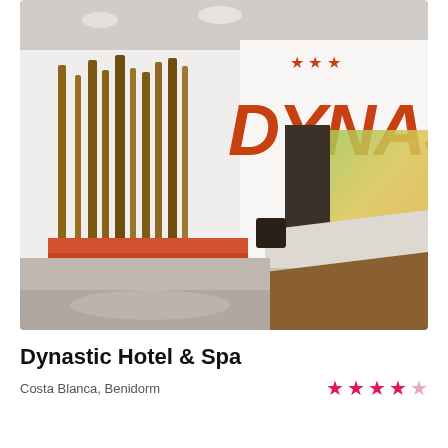[Figure (photo): Interior lobby of Dynastic Hotel & Spa showing the reception area with the large 'DYNASTIC' text in orange on a white wall, wooden pole decorations, orange sofas, a reception desk, and a polished floor.]
Dynastic Hotel & Spa
Costa Blanca, Benidorm